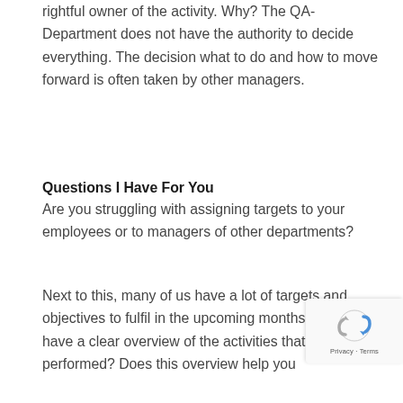rightful owner of the activity. Why? The QA-Department does not have the authority to decide everything. The decision what to do and how to move forward is often taken by other managers.
Questions I Have For You
Are you struggling with assigning targets to your employees or to managers of other departments?
Next to this, many of us have a lot of targets and objectives to fulfil in the upcoming months. Do you have a clear overview of the activities that need to be performed? Does this overview help you